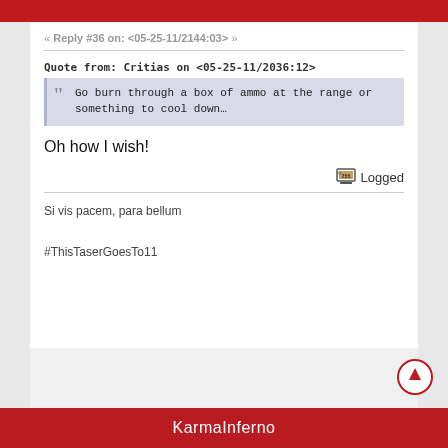« Reply #36 on: <05-25-11/2144:03> »
Quote from: Critias on <05-25-11/2036:12>
Go burn through a box of ammo at the range or something to cool down…
Oh how I wish!
Logged
Si vis pacem, para bellum

#ThisTaserGoesTo11
KarmaInferno